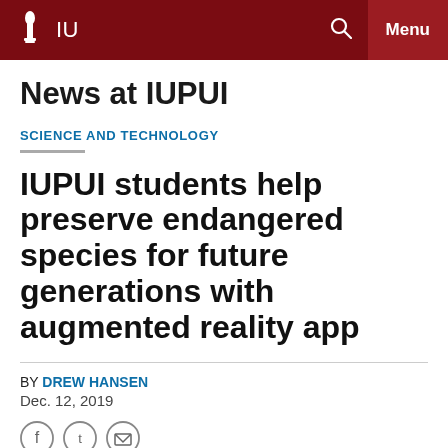IU | News at IUPUI — navigation bar
News at IUPUI
SCIENCE AND TECHNOLOGY
IUPUI students help preserve endangered species for future generations with augmented reality app
BY DREW HANSEN
Dec. 12, 2019